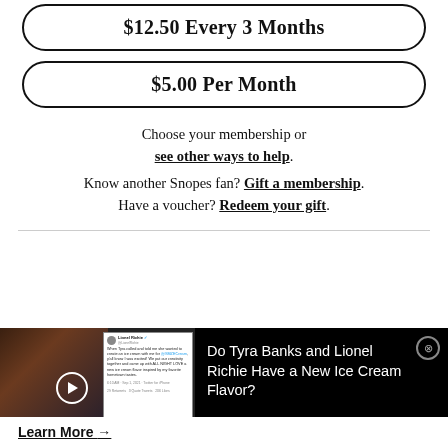$12.50 Every 3 Months
$5.00 Per Month
Choose your membership or see other ways to help. Know another Snopes fan? Gift a membership. Have a voucher? Redeem your gift.
[Figure (screenshot): Advertisement banner showing Tyra Banks and Lionel Richie photo alongside a tweet screenshot, with headline 'Do Tyra Banks and Lionel Richie Have a New Ice Cream Flavor?' and a Learn More link.]